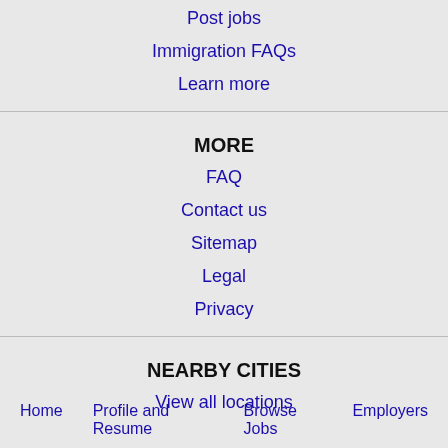Post jobs
Immigration FAQs
Learn more
MORE
FAQ
Contact us
Sitemap
Legal
Privacy
NEARBY CITIES
View all locations
Home   Profile and Resume   Browse Jobs   Employers